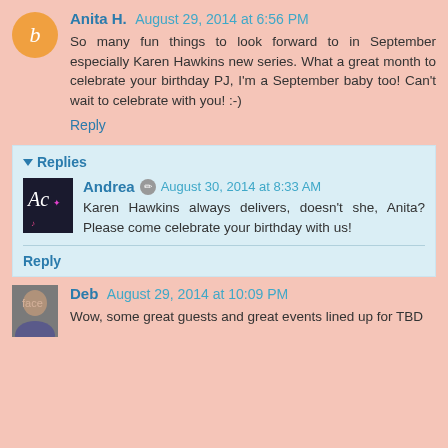Anita H. August 29, 2014 at 6:56 PM
So many fun things to look forward to in September especially Karen Hawkins new series. What a great month to celebrate your birthday PJ, I'm a September baby too! Can't wait to celebrate with you! :-)
Reply
Replies
Andrea August 30, 2014 at 8:33 AM
Karen Hawkins always delivers, doesn't she, Anita? Please come celebrate your birthday with us!
Reply
Deb August 29, 2014 at 10:09 PM
Wow, some great guests and great events lined up for TBD